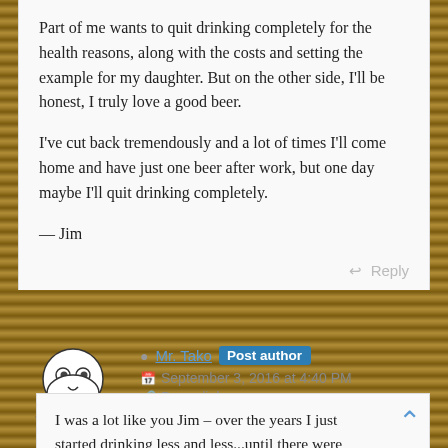Part of me wants to quit drinking completely for the health reasons, along with the costs and setting the example for my daughter. But on the other side, I'll be honest, I truly love a good beer.
I've cut back tremendously and a lot of times I'll come home and have just one beer after work, but one day maybe I'll quit drinking completely.
— Jim
Reply
Mr. Tako Post author
September 3, 2016 at 4:40 PM
Permalink
I was a lot like you Jim – over the years I just started drinking less and less...until there were